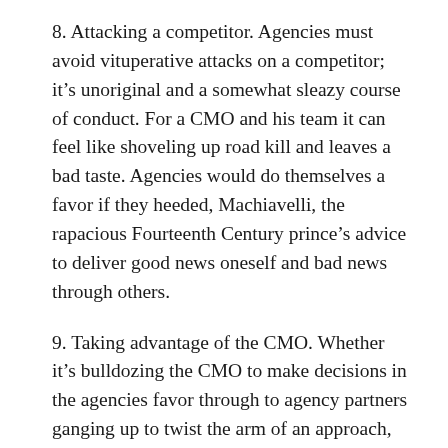8. Attacking a competitor. Agencies must avoid vituperative attacks on a competitor; it's unoriginal and a somewhat sleazy course of conduct. For a CMO and his team it can feel like shoveling up road kill and leaves a bad taste. Agencies would do themselves a favor if they heeded, Machiavelli, the rapacious Fourteenth Century prince's advice to deliver good news oneself and bad news through others.
9. Taking advantage of the CMO. Whether it's bulldozing the CMO to make decisions in the agencies favor through to agency partners ganging up to twist the arm of an approach, many CMOs feel they're paying too much.